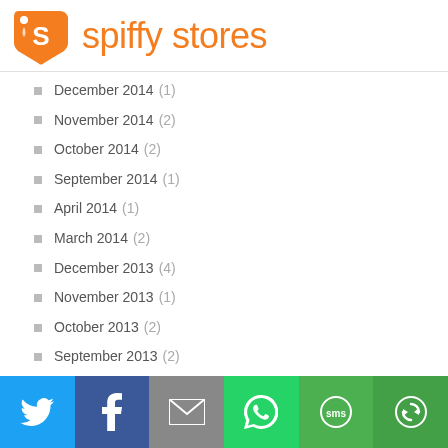[Figure (logo): Spiffy Stores orange tag logo with 'S' icon and brand name 'spiffy stores' in orange]
December 2014 (1)
November 2014 (2)
October 2014 (2)
September 2014 (1)
April 2014 (1)
March 2014 (2)
December 2013 (4)
November 2013 (1)
October 2013 (2)
September 2013 (2)
August 2013 (4)
July 2013 (4)
June 2013 (2)
[Figure (infographic): Social share bar with Twitter, Facebook, Email, WhatsApp, SMS, and Share buttons]